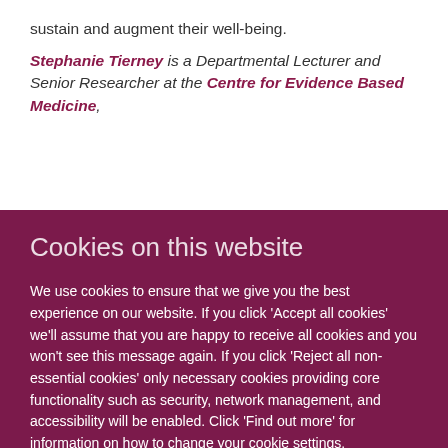sustain and augment their well-being.
Stephanie Tierney is a Departmental Lecturer and Senior Researcher at the Centre for Evidence Based Medicine,
Cookies on this website
We use cookies to ensure that we give you the best experience on our website. If you click 'Accept all cookies' we'll assume that you are happy to receive all cookies and you won't see this message again. If you click 'Reject all non-essential cookies' only necessary cookies providing core functionality such as security, network management, and accessibility will be enabled. Click 'Find out more' for information on how to change your cookie settings.
Accept all cookies
Reject all non-essential cookies
Find out more